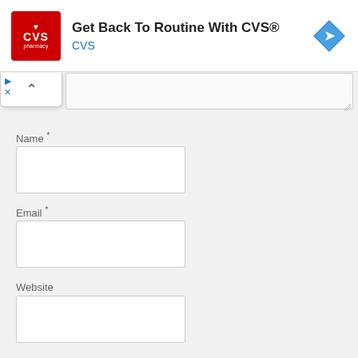[Figure (screenshot): CVS Pharmacy advertisement banner: red CVS pharmacy logo on left, text 'Get Back To Routine With CVS®' in bold and 'CVS' in blue beneath, blue diamond navigation icon on right]
Name *
Email *
Website